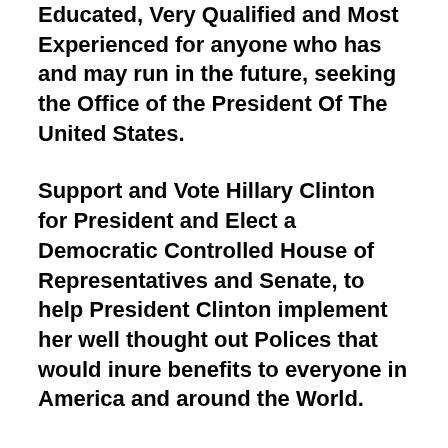Educated, Very Qualified and Most Experienced for anyone who has and may run in the future, seeking the Office of the President Of The United States.
Support and Vote Hillary Clinton for President and Elect a Democratic Controlled House of Representatives and Senate, to help President Clinton implement her well thought out Polices that would inure benefits to everyone in America and around the World.
For once, set aside Misogyny, Hate, Party Affiliation and any and all prejudices and give Hillary Clinton the chance to lead America in this 21st Century. Men have